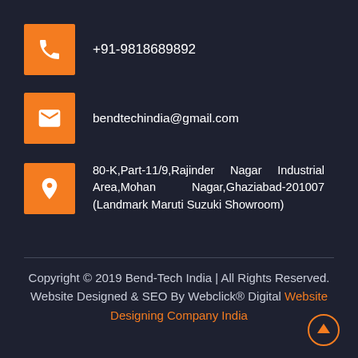+91-9818689892
bendtechindia@gmail.com
80-K,Part-11/9,Rajinder Nagar Industrial Area,Mohan Nagar,Ghaziabad-201007 (Landmark Maruti Suzuki Showroom)
Copyright © 2019 Bend-Tech India | All Rights Reserved. Website Designed & SEO By Webclick® Digital Website Designing Company India